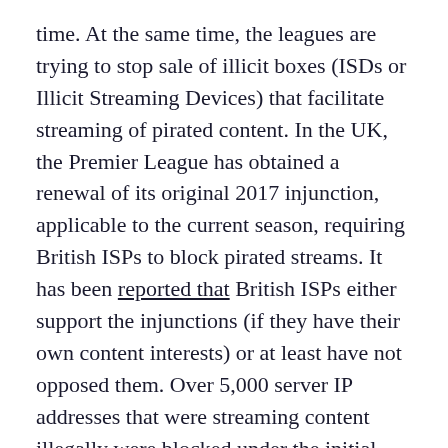time. At the same time, the leagues are trying to stop sale of illicit boxes (ISDs or Illicit Streaming Devices) that facilitate streaming of pirated content. In the UK, the Premier League has obtained a renewal of its original 2017 injunction, applicable to the current season, requiring British ISPs to block pirated streams. It has been reported that British ISPs either support the injunctions (if they have their own content interests) or at least have not opposed them. Over 5,000 server IP addresses that were streaming content illegally were blocked under the initial injunction. In the US, the professional sports leagues have been less successful in combating piracy. The NBA estimates that the number of 18 to 34 year olds